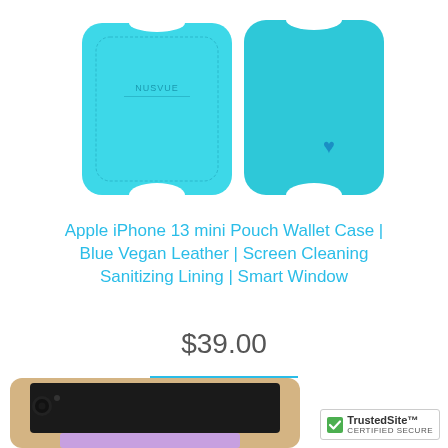[Figure (photo): Teal/blue leather pouch wallet case for iPhone 13 mini, showing both front and back views of the case. The case has a NuSVUE logo on the front flap and a small blue heart icon on the back.]
Apple iPhone 13 mini Pouch Wallet Case | Blue Vegan Leather | Screen Cleaning Sanitizing Lining | Smart Window
$39.00
VIEW
[Figure (photo): Bottom portion of a gold iPhone with a lavender/purple wallet case visible at the bottom of the page.]
[Figure (logo): TrustedSite Certified Secure badge with green checkmark]